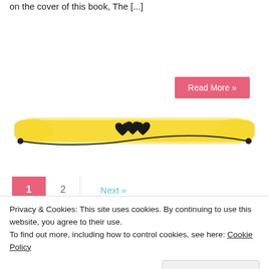on the cover of this book, The [...]
Read More »
[Figure (illustration): Yellow paint-brush horizontal divider with decorative black curved line and three black heart symbols in the center]
1
2
Next »
[Figure (illustration): Teal background section with a large black heart icon and partially visible 'welcome!' text in pink italic]
Privacy & Cookies: This site uses cookies. By continuing to use this website, you agree to their use.
To find out more, including how to control cookies, see here: Cookie Policy
Close and accept